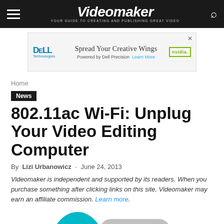Videomaker — YOUR GUIDE TO CREATING AND PUBLISHING GREAT VIDEO
[Figure (screenshot): Dell Technologies advertisement banner: Spread Your Creative Wings, Powered by Dell Precision. Learn More. Nvidia logo.]
Home
News
802.11ac Wi-Fi: Unplug Your Video Editing Computer
By Lizi Urbanowicz - June 24, 2013
Videomaker is independent and supported by its readers. When you purchase something after clicking links on this site, Videomaker may earn an affiliate commission. Learn more.
[Figure (photo): Partial view of a Wi-Fi USB adapter — teal and gray colors, curved shape, cropped at bottom of page.]